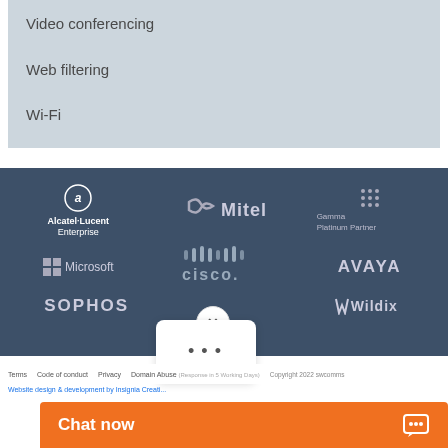Video conferencing
Web filtering
Wi-Fi
[Figure (logo): Partner logos banner on dark blue background: Alcatel-Lucent Enterprise, Mitel, Gamma Platinum Partner, Microsoft, Cisco, Avaya, Sophos, Wildix]
Terms   Code of conduct   Privacy   Domain Abuse (Response in 5 Working Days)   Copyright 2022 swcomms
Website design & development by Insignia Creative
Chat now